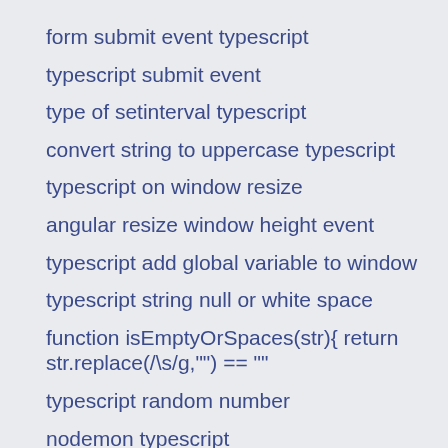form submit event typescript
typescript submit event
type of setinterval typescript
convert string to uppercase typescript
typescript on window resize
angular resize window height event
typescript add global variable to window
typescript string null or white space
function isEmptyOrSpaces(str){ return str.replace(/\s/g,"") == ""
typescript random number
nodemon typescript
replaceall typescript
replaceall nodejs